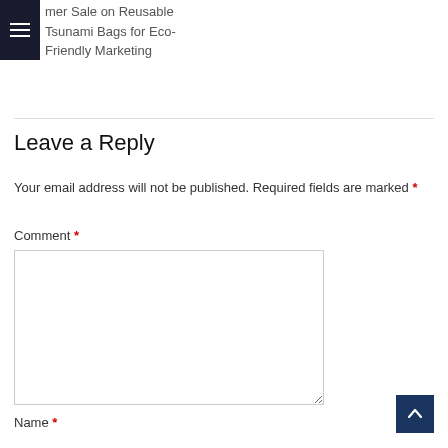mer Sale on Reusable Tsunami Bags for Eco-Friendly Marketing
Leave a Reply
Your email address will not be published. Required fields are marked *
Comment *
Name *